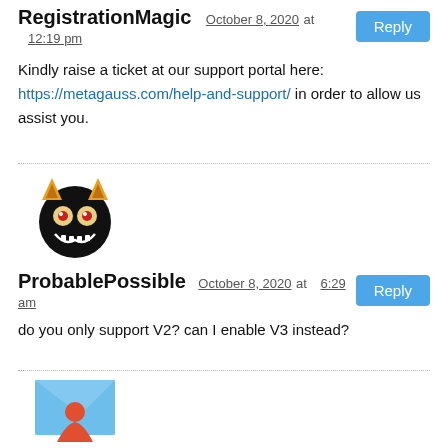RegistrationMagic October 8, 2020 at 12:19 pm
Kindly raise a ticket at our support portal here: https://metagauss.com/help-and-support/ in order to allow us assist you.
[Figure (illustration): Black cartoon cat avatar with orange ears and grinning teeth]
ProbablePossible October 8, 2020 at 6:29 am
do you only support V2? can I enable V3 instead?
[Figure (illustration): Blue envelope with red person icon avatar]